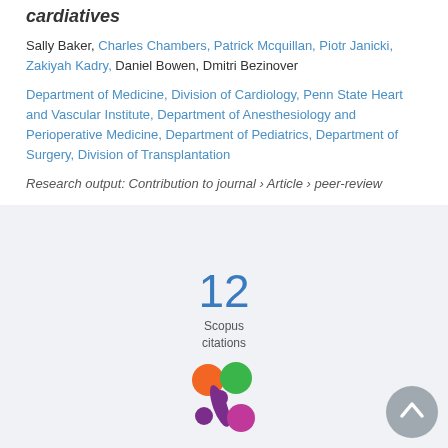cardiatives
Sally Baker, Charles Chambers, Patrick Mcquillan, Piotr Janicki, Zakiyah Kadry, Daniel Bowen, Dmitri Bezinover
Department of Medicine, Division of Cardiology, Penn State Heart and Vascular Institute, Department of Anesthesiology and Perioperative Medicine, Department of Pediatrics, Department of Surgery, Division of Transplantation
Research output: Contribution to journal › Article › peer-review
[Figure (infographic): Scopus citations badge showing the number 12 with label 'Scopus citations']
[Figure (logo): Altmetric donut logo with colored circles in orange, green, purple and magenta]
[Figure (other): Gray circular scroll-to-top button with upward chevron arrow]